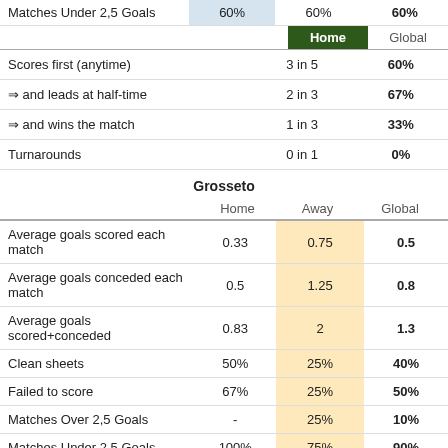|  |  | 60% | 60% | 60% |
| --- | --- | --- | --- | --- |
| Matches Under 2,5 Goals |  | 60% | 60% | 60% |
|  | 3 in 5 | 60% |
| --- | --- | --- |
| Scores first (anytime) | 3 in 5 | 60% |
| ⇒ and leads at half-time | 2 in 3 | 67% |
| ⇒ and wins the match | 1 in 3 | 33% |
| Turnarounds | 0 in 1 | 0% |
Grosseto
|  | Home | Away | Global |
| --- | --- | --- | --- |
| Average goals scored each match | 0.33 | 0.75 | 0.5 |
| Average goals conceded each match | 0.5 | 1.25 | 0.8 |
| Average goals scored+conceded | 0.83 | 2 | 1.3 |
| Clean sheets | 50% | 25% | 40% |
| Failed to score | 67% | 25% | 50% |
| Matches Over 2,5 Goals | - | 25% | 10% |
| Matches Under 2,5 Goals | 100% | 75% | 90% |